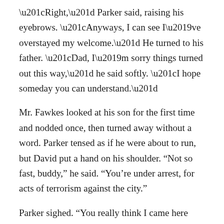“Right,” Parker said, raising his eyebrows. “Anyways, I can see I’ve overstayed my welcome.” He turned to his father. “Dad, I’m sorry things turned out this way,” he said softly. “I hope someday you can understand.”
Mr. Fawkes looked at his son for the first time and nodded once, then turned away without a word. Parker tensed as if he were about to run, but David put a hand on his shoulder. “Not so fast, buddy,” he said. “You’re under arrest, for acts of terrorism against the city.”
Parker sighed. “You really think I came here without an escape option?” he asked. “You see, buddy,” he added, using the same address as David, “I’ve been training this last year.”